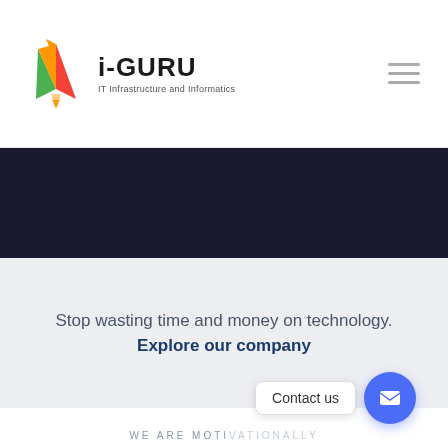[Figure (logo): i-GURU logo with colorful kite/diamond icon and text 'i-GURU IT Infrastructure and Informatics']
[Figure (other): Dark navy hero banner section]
Stop wasting time and money on technology. Explore our company
WE ARE MOTIVATIONALLY
Get Started, It's Free on Us.
Contact us